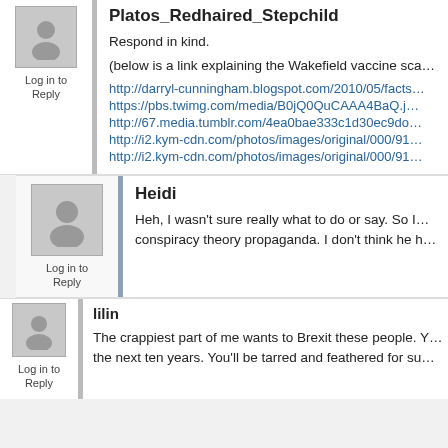Platos_Redhaired_Stepchild
Log in to Reply
Respond in kind.
(below is a link explaining the Wakefield vaccine sca…
http://darryl-cunningham.blogspot.com/2010/05/facts…
https://pbs.twimg.com/media/B0jQ0QuCAAA4BaQ.j…
http://67.media.tumblr.com/4ea0bae333c1d30ec9d…
http://i2.kym-cdn.com/photos/images/original/000/91…
http://i2.kym-cdn.com/photos/images/original/000/91…
Heidi
Log in to Reply
Heh, I wasn't sure really what to do or say. So I… conspiracy theory propaganda. I don't think he h…
lilin
Log in to Reply
The crappiest part of me wants to Brexit these people. Y… the next ten years. You'll be tarred and feathered for su…